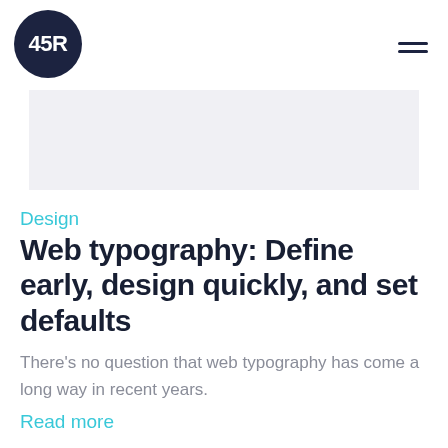45R
[Figure (other): Light gray rectangular hero image placeholder banner]
Design
Web typography: Define early, design quickly, and set defaults
There's no question that web typography has come a long way in recent years.
Read more